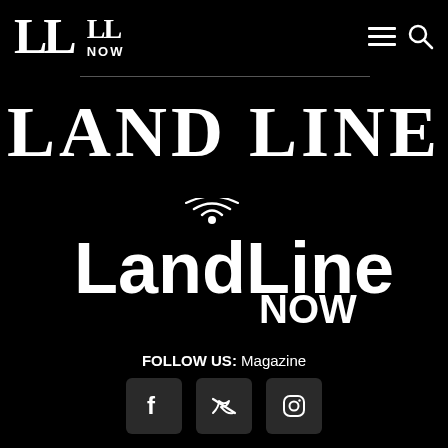LL | LL NOW | navigation menu and search icons
[Figure (logo): LAND LINE large serif bold text logo centered on black background]
[Figure (logo): LandLine Now logo with wifi signal icon above the i, in white on black background]
FOLLOW US: Magazine
[Figure (other): Social media icons: Facebook, Twitter, Instagram on dark rounded square buttons]